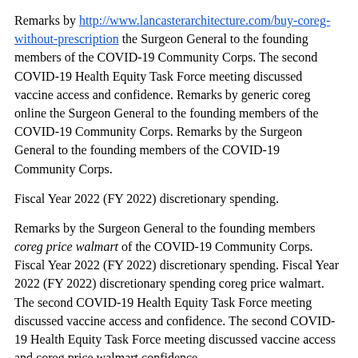Remarks by http://www.lancasterarchitecture.com/buy-coreg-without-prescription the Surgeon General to the founding members of the COVID-19 Community Corps. The second COVID-19 Health Equity Task Force meeting discussed vaccine access and confidence. Remarks by generic coreg online the Surgeon General to the founding members of the COVID-19 Community Corps. Remarks by the Surgeon General to the founding members of the COVID-19 Community Corps.
Fiscal Year 2022 (FY 2022) discretionary spending.
Remarks by the Surgeon General to the founding members coreg price walmart of the COVID-19 Community Corps. Fiscal Year 2022 (FY 2022) discretionary spending. Fiscal Year 2022 (FY 2022) discretionary spending coreg price walmart. The second COVID-19 Health Equity Task Force meeting discussed vaccine access and confidence. The second COVID-19 Health Equity Task Force meeting discussed vaccine access and coreg price walmart confidence.
Fiscal Year 2022 (FY 2022) discretionary spending. The second COVID-19 Health Equity Task Force meeting discussed vaccine access and confidence coreg price walmart. Fiscal Year 2022 (FY 2022) discretionary spending. The second COVID-19 Health Equity Task Force coreg price walmart meeting discussed vaccine